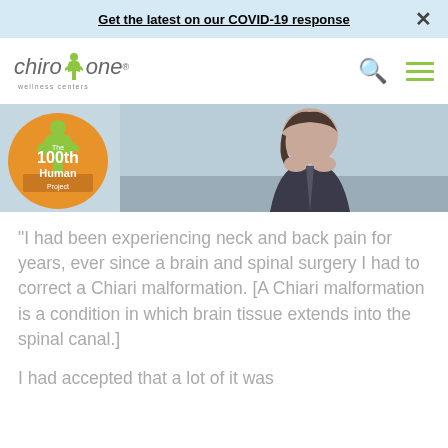Get the latest on our COVID-19 response
[Figure (logo): Chiro One Wellness Centers logo with green figure icon]
[Figure (photo): Hero image showing a woman in business attire resting her face on her hands, appearing to be in pain, overlaid with a '100th Human Project' circular badge]
“I had been experiencing neck and back pain for years, ever since a brain and spinal surgery I had to correct a Chiari malformation. [A Chiari malformation is a condition in which brain tissue extends into the spinal canal.]
I had accepted that a lot of it was